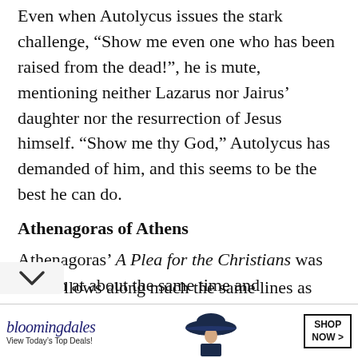Even when Autolycus issues the stark challenge, “Show me even one who has been raised from the dead!”, he is mute, mentioning neither Lazarus nor Jairus’ daughter nor the resurrection of Jesus himself. “Show me thy God,” Autolycus has demanded of him, and this seems to be the best he can do.
Athenagoras of Athens
Athenagoras’ A Plea for the Christians was written at about the same time and follows along much the same lines as
[Figure (other): Bloomingdale's advertisement banner: logo text 'bloomingdales', tagline 'View Today’s Top Deals!', image of woman in wide-brim hat, 'SHOP NOW >' button]